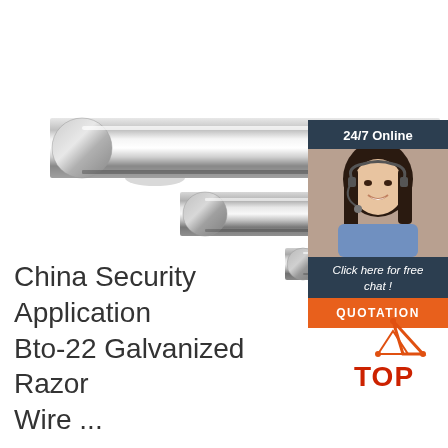[Figure (photo): Three polished chrome/steel cylindrical rods of decreasing diameter, arranged diagonally on a white background]
[Figure (infographic): Customer service chat widget with '24/7 Online' header, photo of smiling woman with headset, 'Click here for free chat!' text, and orange QUOTATION button]
China Security Application Bto-22 Galvanized Razor Wire ...
[Figure (logo): TOP logo with orange triangle/mountain icon and red TOP text]